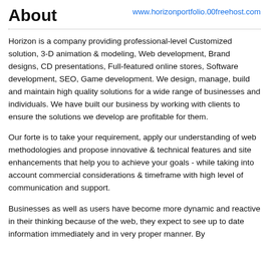About
www.horizonportfolio.00freehost.com
Horizon is a company providing professional-level Customized solution, 3-D animation & modeling, Web development, Brand designs, CD presentations, Full-featured online stores, Software development, SEO, Game development. We design, manage, build and maintain high quality solutions for a wide range of businesses and individuals. We have built our business by working with clients to ensure the solutions we develop are profitable for them.
Our forte is to take your requirement, apply our understanding of web methodologies and propose innovative & technical features and site enhancements that help you to achieve your goals - while taking into account commercial considerations & timeframe with high level of communication and support.
Businesses as well as users have become more dynamic and reactive in their thinking because of the web, they expect to see up to date information immediately and in very proper manner. By